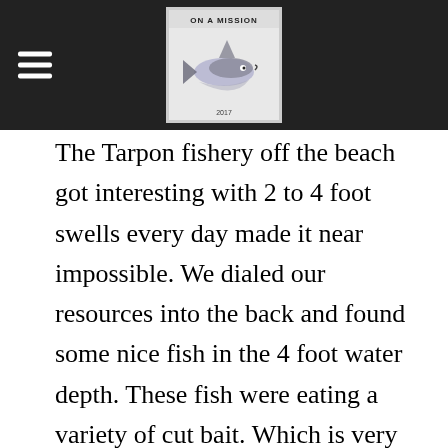ON A MISSION [logo/header bar]
The Tarpon fishery off the beach got interesting with 2 to 4 foot swells every day made it near impossible. We dialed our resources into the back and found some nice fish in the 4 foot water depth. These fish were eating a variety of cut bait. Which is very nice, you can get away with usually larger leader and larger hooks. Also nice mix bag of sharks in the same area. Mostly blacktips, spinners and bulls are really fun to pull on in between the tarpon.

Also, the snook fishing in the back has really tuned up. We have been catching between 50 and 60 snook